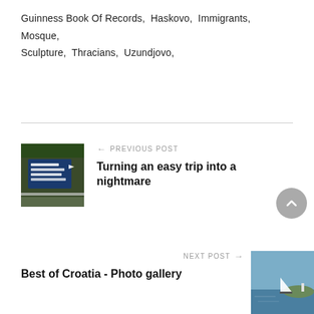Guinness Book Of Records,  Haskovo,  Immigrants,  Mosque,  Sculpture,  Thracians,  Uzundjovo,
[Figure (photo): Photo of a road sign in blue with white text, showing directions including customs/border crossing information, with green trees in background and a guardrail.]
PREVIOUS POST
Turning an easy trip into a nightmare
NEXT POST
Best of Croatia - Photo gallery
[Figure (photo): Photo of a coastal scene with a sailboat on blue water and a small rocky peninsula with a lighthouse.]